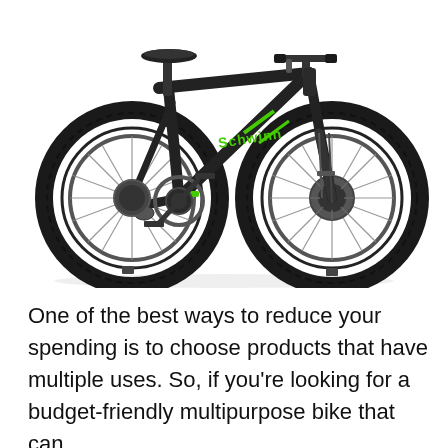[Figure (photo): A black and green mountain bike (Schwinn brand) photographed against a white background, showing the full bicycle from a slightly elevated side angle. The bike has large knobby tires, disc brakes on the front wheel, and green accents/lettering on the dark frame.]
One of the best ways to reduce your spending is to choose products that have multiple uses. So, if you're looking for a budget-friendly multipurpose bike that can